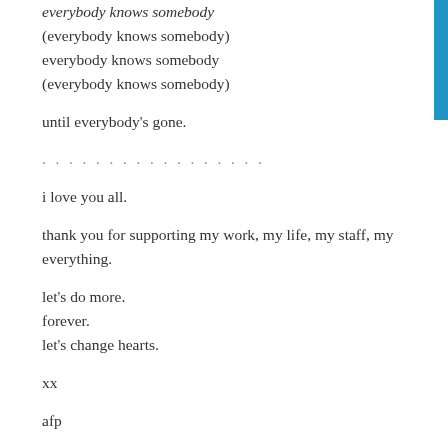everybody knows somebody
(everybody knows somebody)
everybody knows somebody
(everybody knows somebody)
until everybody's gone.
. . . . . . . . . . . . . . . . .
i love you all.
thank you for supporting my work, my life, my staff, my everything.
let's do more.
forever.
let's change hearts.
xx
afp
p.s. a special thank you for this one goes out to nick, braxton and brittney, who busted ass FAST to get this